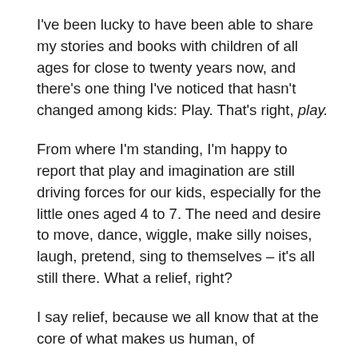I've been lucky to have been able to share my stories and books with children of all ages for close to twenty years now, and there's one thing I've noticed that hasn't changed among kids: Play. That's right, play.
From where I'm standing, I'm happy to report that play and imagination are still driving forces for our kids, especially for the little ones aged 4 to 7. The need and desire to move, dance, wiggle, make silly noises, laugh, pretend, sing to themselves – it's all still there. What a relief, right?
I say relief, because we all know that at the core of what makes us human, of